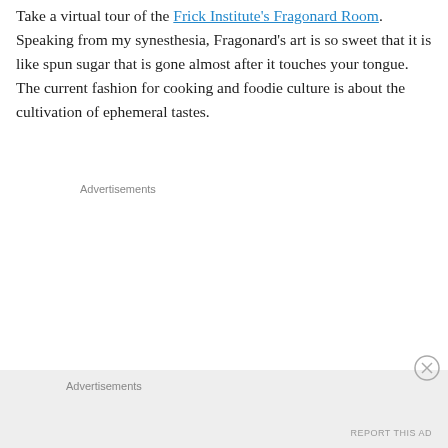Take a virtual tour of the Frick Institute's Fragonard Room. Speaking from my synesthesia, Fragonard's art is so sweet that it is like spun sugar that is gone almost after it touches your tongue. The current fashion for cooking and foodie culture is about the cultivation of ephemeral tastes.
Advertisements
Advertisements
REPORT THIS AD